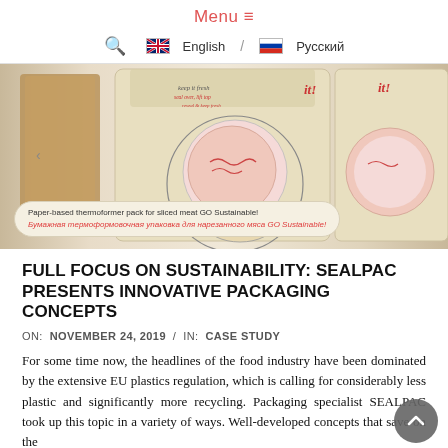Menu ≡  🇬🇧 English / 🇷🇺 Русский
[Figure (photo): Paper-based thermoformer packs for sliced meat 'GO Sustainable!' shown as product packaging with sketch illustration of sliced meat. Caption bubble reads: 'Paper-based thermoformer pack for sliced meat GO Sustainable! / Бумажная термоформовочная упаковка для нарезанного мяса GO Sustainable!']
Paper-based thermoformer pack for sliced meat GO Sustainable!
Бумажная термоформовочная упаковка для нарезанного мяса GO Sustainable!
FULL FOCUS ON SUSTAINABILITY: SEALPAC PRESENTS INNOVATIVE PACKAGING CONCEPTS
ON:  NOVEMBER 24, 2019  /  IN:  CASE STUDY
For some time now, the headlines of the food industry have been dominated by the extensive EU plastics regulation, which is calling for considerably less plastic and significantly more recycling. Packaging specialist SEALPAC took up this topic in a variety of ways. Well-developed concepts that save on the